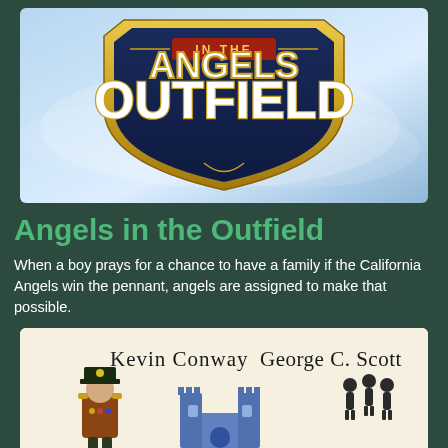[Figure (photo): Movie poster for 'Angels in the Outfield' showing the title logo in bold white letters with navy blue background on a shield shape against a blue sky background]
Angels in the Outfield
When a boy prays for a chance to have a family if the California Angels win the pennant, angels are assigned to make that possible.
[Figure (photo): Second movie image showing 'Kevin Conway  George C. Scott' text at top with illustrated figures below on a cream/beige background]